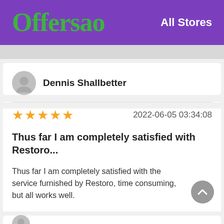Offersao   All Stores
Dennis Shallbetter
★★★★★   2022-06-05 03:34:08
Thus far I am completely satisfied with Restoro...
Thus far I am completely satisfied with the service furnished by Restoro, time consuming, but all works well.